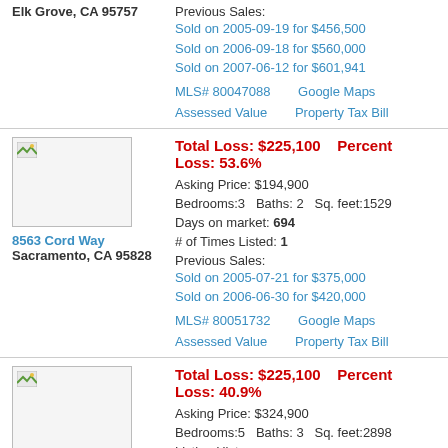Elk Grove, CA 95757
Previous Sales: Sold on 2005-09-19 for $456,500 Sold on 2006-09-18 for $560,000 Sold on 2007-06-12 for $601,941
MLS# 80047088   Google Maps
Assessed Value   Property Tax Bill
[Figure (photo): Property thumbnail image placeholder]
Total Loss: $225,100    Percent Loss: 53.6%
Asking Price: $194,900
Bedrooms:3   Baths: 2   Sq. feet:1529
Days on market: 694
8563 Cord Way
Sacramento, CA 95828
# of Times Listed: 1
Previous Sales: Sold on 2005-07-21 for $375,000 Sold on 2006-06-30 for $420,000
MLS# 80051732   Google Maps
Assessed Value   Property Tax Bill
[Figure (photo): Property thumbnail image placeholder]
Total Loss: $225,100    Percent Loss: 40.9%
Asking Price: $324,900
Bedrooms:5   Baths: 3   Sq. feet:2898
Listing History: